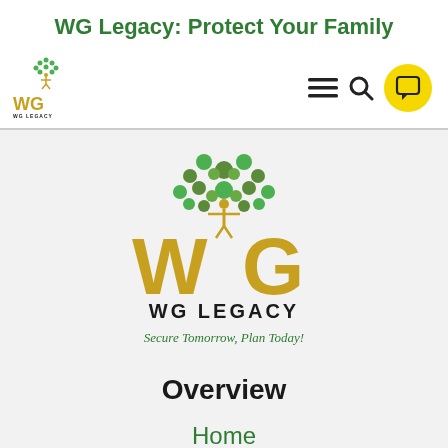WG Legacy: Protect Your Family
[Figure (logo): WG Legacy logo in navigation bar - small tree with WG letters and tagline]
[Figure (logo): WG Legacy large centered logo - golden WG letters with green tree above, WG LEGACY text, and cursive tagline Secure Tomorrow, Plan Today!]
Overview
Home
Articles